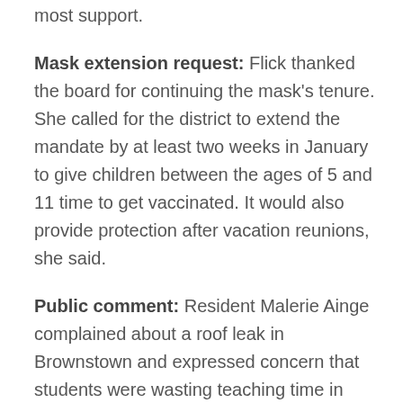most support.
Mask extension request: Flick thanked the board for continuing the mask's tenure. She called for the district to extend the mandate by at least two weeks in January to give children between the ages of 5 and 11 time to get vaccinated. It would also provide protection after vacation reunions, she said.
Public comment: Resident Malerie Ainge complained about a roof leak in Brownstown and expressed concern that students were wasting teaching time in Brownstown while their classmates left the classroom for a program called the Bible Adventures. Zuilkoski said he would investigate the leak. He added that CV has